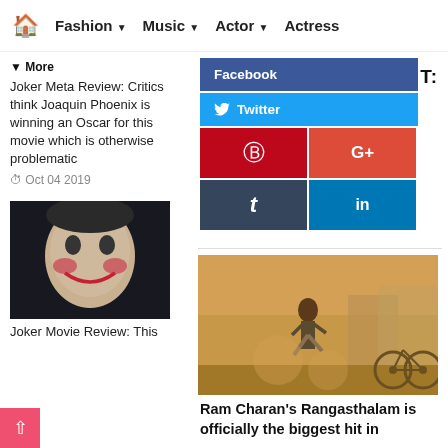🏠 Fashion ▾ Music ▾ Actor ▾ Actress
More ▾
Joker Meta Review: Critics think Joaquin Phoenix is winning an Oscar for this movie which is otherwise problematic
🕐 Oct 04 2019
[Figure (photo): Joker movie still - close-up of Joker character face with makeup]
Joker Movie Review: This
[Figure (infographic): Social share buttons: Facebook (dark blue), Twitter (light blue), Pinterest (red), Google+ (red-orange), Tumblr (dark navy), LinkedIn (blue)]
SHARE IT:
[Figure (photo): Ram Charan action scene from Rangasthalam - actor running in dusty outdoor setting with bicycle in background]
Ram Charan's Rangasthalam is officially the biggest hit in